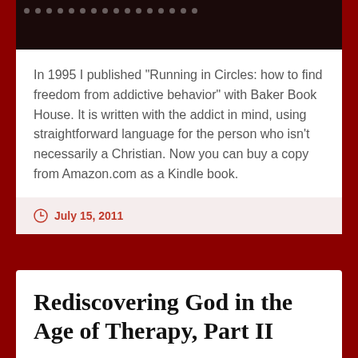[Figure (screenshot): Dark header bar with dots/decorative elements and partial image at bottom]
In 1995 I published "Running in Circles: how to find freedom from addictive behavior" with Baker Book House. It is written with the addict in mind, using straightforward language for the person who isn't necessarily a Christian. Now you can buy a copy from Amazon.com as a Kindle book.
July 15, 2011
Rediscovering God in the Age of Therapy, Part II